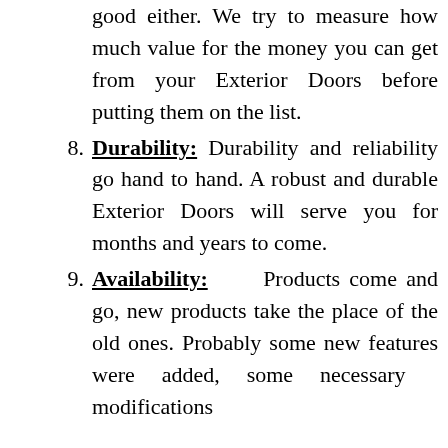good either. We try to measure how much value for the money you can get from your Exterior Doors before putting them on the list.
8. Durability: Durability and reliability go hand to hand. A robust and durable Exterior Doors will serve you for months and years to come.
9. Availability: Products come and go, new products take the place of the old ones. Probably some new features were added, some necessary modifications